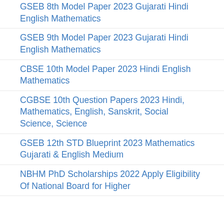GSEB 8th Model Paper 2023 Gujarati Hindi English Mathematics
GSEB 9th Model Paper 2023 Gujarati Hindi English Mathematics
CBSE 10th Model Paper 2023 Hindi English Mathematics
CGBSE 10th Question Papers 2023 Hindi, Mathematics, English, Sanskrit, Social Science, Science
GSEB 12th STD Blueprint 2023 Mathematics Gujarati & English Medium
NBHM PhD Scholarships 2022 Apply Eligibility Of National Board for Higher